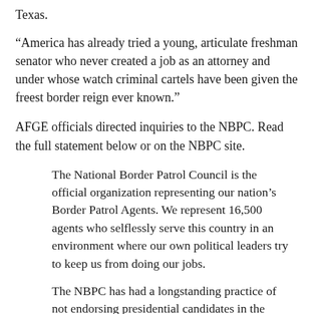Texas.
“America has already tried a young, articulate freshman senator who never created a job as an attorney and under whose watch criminal cartels have been given the freest border reign ever known.”
AFGE officials directed inquiries to the NBPC. Read the full statement below or on the NBPC site.
The National Border Patrol Council is the official organization representing our nation’s Border Patrol Agents. We represent 16,500 agents who selflessly serve this country in an environment where our own political leaders try to keep us from doing our jobs.
The NBPC has had a longstanding practice of not endorsing presidential candidates in the primaries. We will not, however, shy away from voicing our opinions as it pertains to border security and the men and women of the United States Border Patrol. As